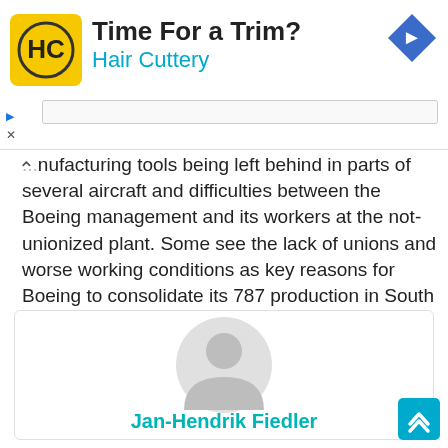[Figure (other): Hair Cuttery advertisement banner with logo, text 'Time For a Trim? Hair Cuttery', and a blue diamond arrow icon]
...nufacturing tools being left behind in parts of several aircraft and difficulties between the Boeing management and its workers at the not-unionized plant. Some see the lack of unions and worse working conditions as key reasons for Boeing to consolidate its 787 production in South Carolina.
[Figure (photo): Generic user avatar silhouette (gray person icon on white/light background) inside an author card box]
Jan-Hendrik Fiedler